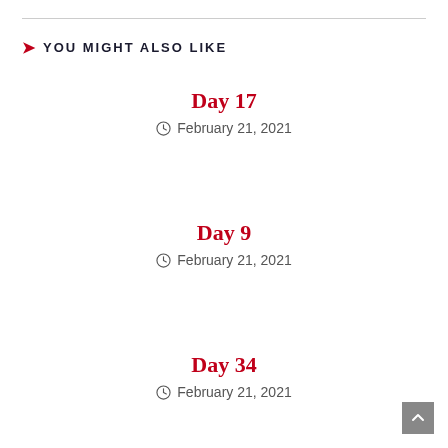YOU MIGHT ALSO LIKE
Day 17
February 21, 2021
Day 9
February 21, 2021
Day 34
February 21, 2021